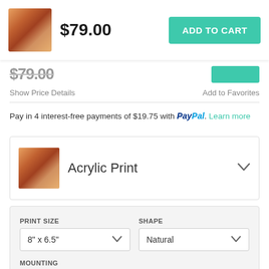[Figure (screenshot): Sticky top bar with product thumbnail, price $79.00, and ADD TO CART button]
$79.00
Show Price Details
Add to Favorites
Pay in 4 interest-free payments of $19.75 with PayPal. Learn more
Acrylic Print
PRINT SIZE
8" x 6.5"
SHAPE
Natural
MOUNTING